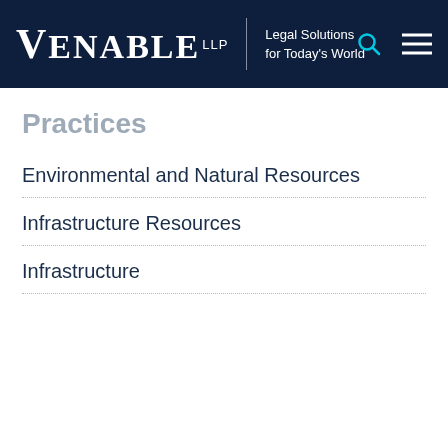VENABLE LLP | Legal Solutions for Today's World
Practices
Environmental and Natural Resources
Infrastructure Resources
Infrastructure